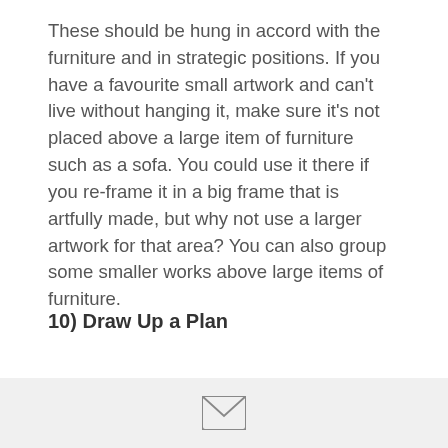These should be hung in accord with the furniture and in strategic positions. If you have a favourite small artwork and can't live without hanging it, make sure it's not placed above a large item of furniture such as a sofa. You could use it there if you re-frame it in a big frame that is artfully made, but why not use a larger artwork for that area? You can also group some smaller works above large items of furniture.
10) Draw Up a Plan
The main thing to take away from this